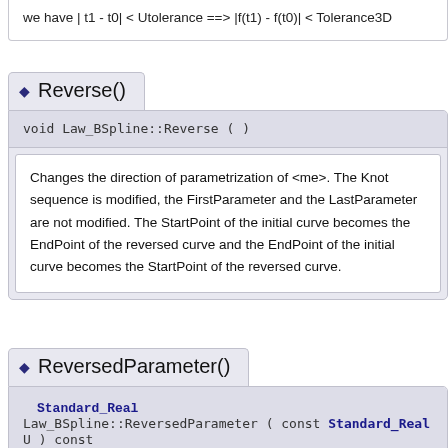we have | t1 - t0| < Utolerance ===> |f(t1) - f(t0)| < Tolerance3D
Reverse()
void Law_BSpline::Reverse ( )
Changes the direction of parametrization of <me>. The Knot sequence is modified, the FirstParameter and the LastParameter are not modified. The StartPoint of the initial curve becomes the EndPoint of the reversed curve and the EndPoint of the initial curve becomes the StartPoint of the reversed curve.
ReversedParameter()
Standard_Real Law_BSpline::ReversedParameter ( const Standard_Real U ) const